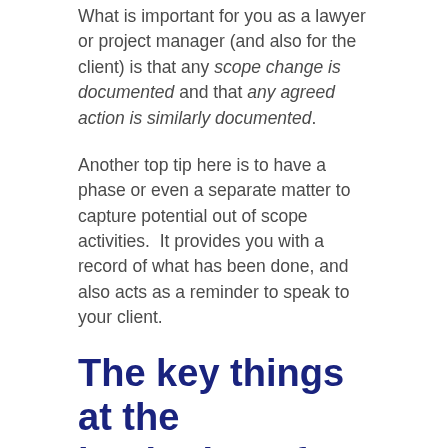What is important for you as a lawyer or project manager (and also for the client) is that any scope change is documented and that any agreed action is similarly documented.
Another top tip here is to have a phase or even a separate matter to capture potential out of scope activities.  It provides you with a record of what has been done, and also acts as a reminder to speak to your client.
The key things at the beginning of Legal Project Management
In closing, the most important thing to do is to